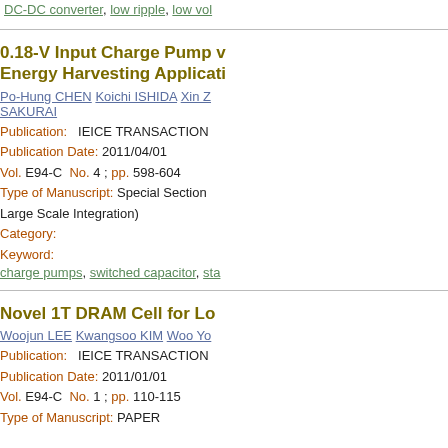DC-DC converter, low ripple, low vol
0.18-V Input Charge Pump v Energy Harvesting Applicati
Po-Hung CHEN Koichi ISHIDA Xin Z SAKURAI
Publication:   IEICE TRANSACTION
Publication Date: 2011/04/01
Vol. E94-C  No. 4 ; pp. 598-604
Type of Manuscript:  Special Section Large Scale Integration)
Category:
Keyword:
charge pumps, switched capacitor, sta
Novel 1T DRAM Cell for Lo
Woojun LEE Kwangsoo KIM Woo Yo
Publication:   IEICE TRANSACTION
Publication Date: 2011/01/01
Vol. E94-C  No. 1 ; pp. 110-115
Type of Manuscript:  PAPER